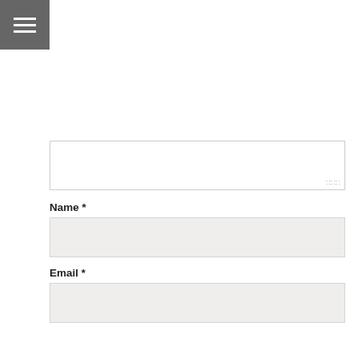[Figure (screenshot): Hamburger menu icon (three white horizontal lines on dark grey background) in top-left corner]
[Figure (screenshot): Comment textarea input box with resize handle at bottom-right]
Name *
[Figure (screenshot): Name input field, light beige background]
Email *
[Figure (screenshot): Email input field, light beige background]
Website
Notify me when new comments are added.
POST COMMENT
This site uses Akismet to reduce spam. Learn how your